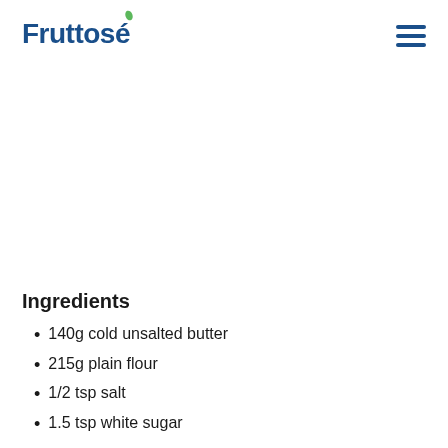Fruttosé
Ingredients
140g cold unsalted butter
215g plain flour
1/2 tsp salt
1.5 tsp white sugar